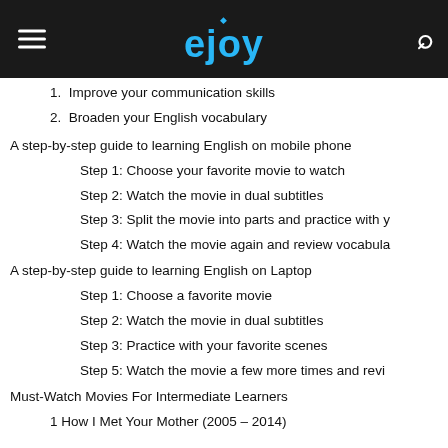ejoy
1.  Improve your communication skills
2.  Broaden your English vocabulary
A step-by-step guide to learning English on mobile phone
Step 1: Choose your favorite movie to watch
Step 2: Watch the movie in dual subtitles
Step 3: Split the movie into parts and practice with y
Step 4: Watch the movie again and review vocabula
A step-by-step guide to learning English on Laptop
Step 1: Choose a favorite movie
Step 2: Watch the movie in dual subtitles
Step 3: Practice with your favorite scenes
Step 5: Watch the movie a few more times and revi
Must-Watch Movies For Intermediate Learners
1 How I Met Your Mother (2005 – 2014)